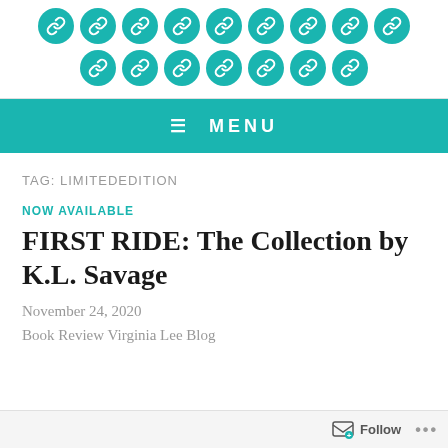[Figure (logo): Two rows of teal circular chain-link icons forming a logo pattern — 9 circles in the top row, 7 circles in the bottom row]
≡ MENU
TAG: LIMITEDEDITION
NOW AVAILABLE
FIRST RIDE: The Collection by K.L. Savage
November 24, 2020
Book Review Virginia Lee Blog
Follow ...